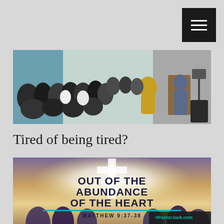[Figure (other): Hamburger menu icon button, black background with three horizontal white lines]
[Figure (photo): Indoor church gathering photo showing a congregation seated in rows, a speaker in a yellow jacket gesturing to the audience, and another person at a wooden podium on the right side. Blue walls, white ceiling, musical equipment visible.]
Tired of being tired?
[Figure (infographic): Sermon graphic with glowing cross and raised hands in background. Bold dark navy text reads 'OUT OF THE ABUNDANCE OF THE HEART'. Teal horizontal line divider. Text below reads 'MATTHEW 9:37-38'. Bottom right corner has a dark overlay with '#PastorJack.com' branding.]